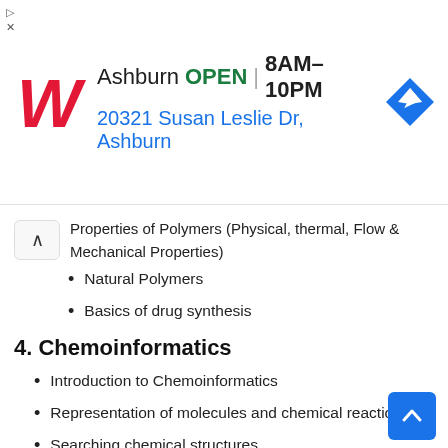[Figure (other): Walgreens advertisement banner showing store location in Ashburn, OPEN 8AM-10PM, address 20321 Susan Leslie Dr, Ashburn, with Walgreens logo and navigation icon]
Properties of Polymers (Physical, thermal, Flow & Mechanical Properties)
Natural Polymers
Basics of drug synthesis
4. Chemoinformatics
Introduction to Chemoinformatics
Representation of molecules and chemical reactions
Searching chemical structures
Applications
Structure-Spectra correlations
Introduction to drug design